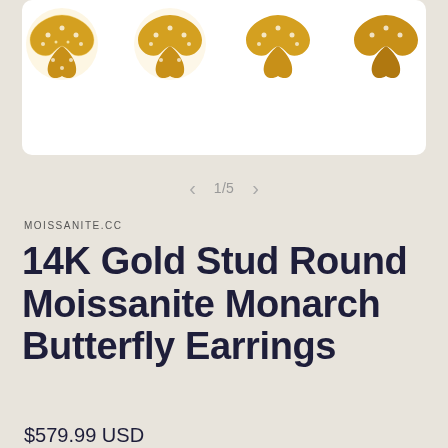[Figure (photo): Four gold butterfly earrings with diamond/moissanite detailing displayed on white background, two pairs visible]
1/5
MOISSANITE.CC
14K Gold Stud Round Moissanite Monarch Butterfly Earrings
$579.99 USD